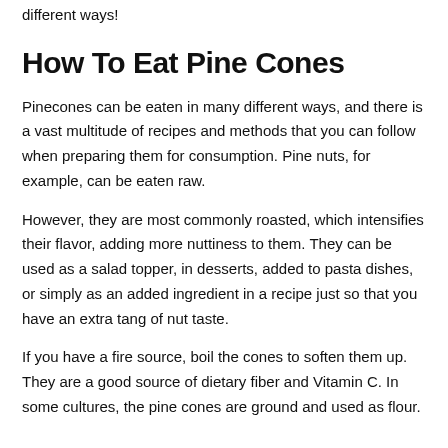different ways!
How To Eat Pine Cones
Pinecones can be eaten in many different ways, and there is a vast multitude of recipes and methods that you can follow when preparing them for consumption. Pine nuts, for example, can be eaten raw.
However, they are most commonly roasted, which intensifies their flavor, adding more nuttiness to them. They can be used as a salad topper, in desserts, added to pasta dishes, or simply as an added ingredient in a recipe just so that you have an extra tang of nut taste.
If you have a fire source, boil the cones to soften them up. They are a good source of dietary fiber and Vitamin C. In some cultures, the pine cones are ground and used as flour.